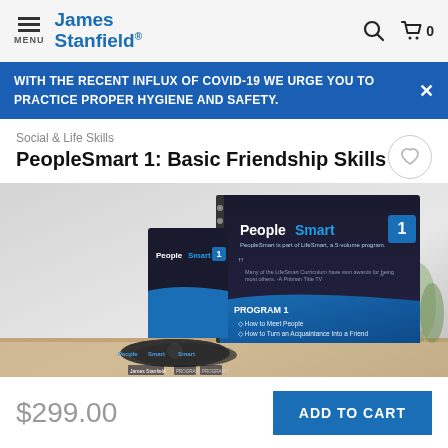James Stanfield®  MENU  🔍  🛒 0
WITH THE RECENT INFLUX OF COVID-19 WE URGE YOU TO PRACTICE PROPER HYGIENE AND SAFETY.
Social & Life Skills
PeopleSmart 1: Basic Friendship Skills
[Figure (photo): Product photo of PeopleSmart 1: Basic Friendship Skills kit including a spiral-bound workbook and DVD set on a wooden surface. The workbook cover reads PeopleSmart 1, PROGRAM 1, How to Meet People, How to Turn an Acquaintance Into a Friend, How to Deepen a Friendship.]
$299.00
ADD TO CART